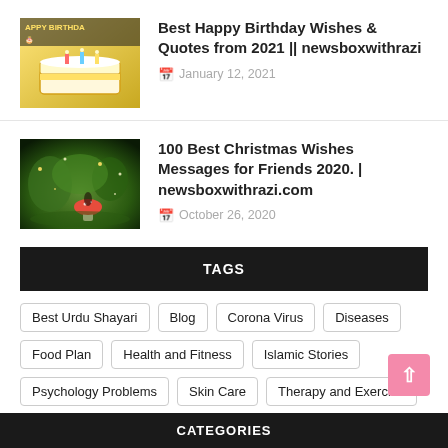[Figure (photo): Birthday cake with 'Happy Birthday' text overlay in yellow/cream tones]
Best Happy Birthday Wishes & Quotes from 2021 || newsboxwithrazi
January 12, 2021
[Figure (photo): Fantasy forest scene with red mushroom and fairy lights]
100 Best Christmas Wishes Messages for Friends 2020. | newsboxwithrazi.com
October 26, 2020
TAGS
Best Urdu Shayari
Blog
Corona Virus
Diseases
Food Plan
Health and Fitness
Islamic Stories
Psychology Problems
Skin Care
Therapy and Exercise
True Stories
Vitamins and Minerals
World Festival
CATEGORIES